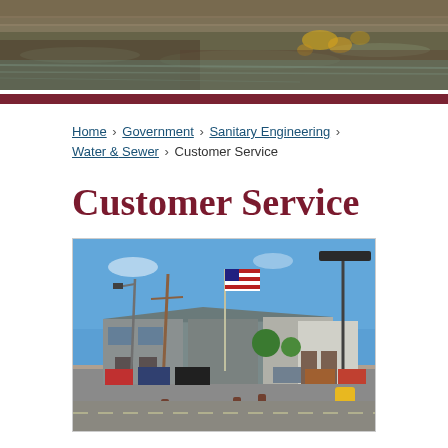[Figure (photo): Nature/water scene header photo showing rocks and water with autumn leaves]
Home › Government › Sanitary Engineering › Water & Sewer › Customer Service
Customer Service
[Figure (photo): Exterior photo of a government/municipal building with an American flag, utility poles, street lights, parked vehicles, and a yellow bollard in the foreground]